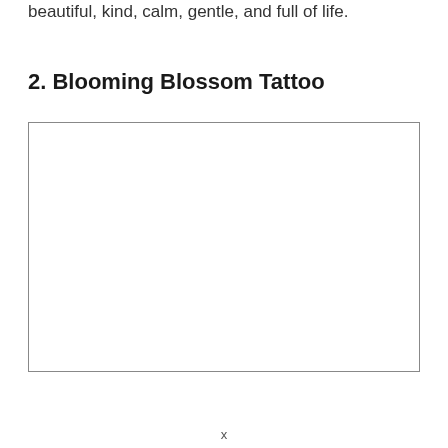beautiful, kind, calm, gentle, and full of life.
2. Blooming Blossom Tattoo
[Figure (other): Empty white rectangle with a thin border, placeholder for an image of a Blooming Blossom Tattoo.]
x